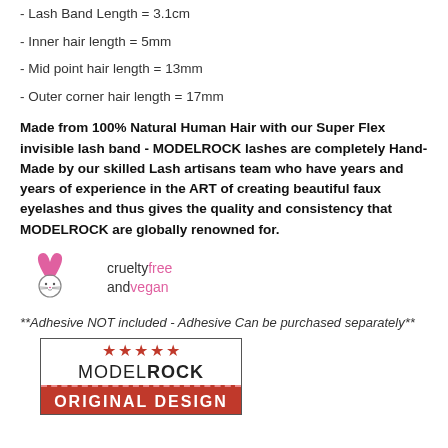- Lash Band Length = 3.1cm
- Inner hair length = 5mm
- Mid point hair length = 13mm
- Outer corner hair length = 17mm
Made from 100% Natural Human Hair with our Super Flex invisible lash band - MODELROCK lashes are completely Hand-Made by our skilled Lash artisans team who have years and years of experience in the ART of creating beautiful faux eyelashes and thus gives the quality and consistency that MODELROCK are globally renowned for.
[Figure (logo): Cruelty free and vegan bunny logo with text 'cruelty free and vegan']
**Adhesive NOT included - Adhesive Can be purchased separately**
[Figure (logo): MODELROCK brand logo with 5 red stars above, text MODEL ROCK, and red banner with ORIGINAL DESIGN]